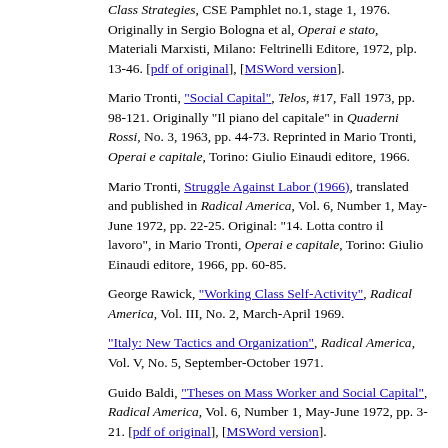Class Strategies, CSE Pamphlet no.1, stage 1, 1976. Originally in Sergio Bologna et al, Operai e stato, Materiali Marxisti, Milano: Feltrinelli Editore, 1972, plp. 13-46. [pdf of original], [MSWord version].
Mario Tronti, "Social Capital", Telos, #17, Fall 1973, pp. 98-121. Originally "Il piano del capitale" in Quaderni Rossi, No. 3, 1963, pp. 44-73. Reprinted in Mario Tronti, Operai e capitale, Torino: Giulio Einaudi editore, 1966.
Mario Tronti, Struggle Against Labor (1966), translated and published in Radical America, Vol. 6, Number 1, May-June 1972, pp. 22-25. Original: "14. Lotta contro il lavoro", in Mario Tronti, Operai e capitale, Torino: Giulio Einaudi editore, 1966, pp. 60-85.
George Rawick, "Working Class Self-Activity", Radical America, Vol. III, No. 2, March-April 1969.
"Italy: New Tactics and Organization", Radical America, Vol. V, No. 5, September-October 1971.
Guido Baldi, "Theses on Mass Worker and Social Capital", Radical America, Vol. 6, Number 1, May-June 1972, pp. 3-21. [pdf of original], [MSWord version].
Material associated with the Wages for Housework Movement.
Women and the Subversion of the Community, (1972) [pdf version] [MSWord version].